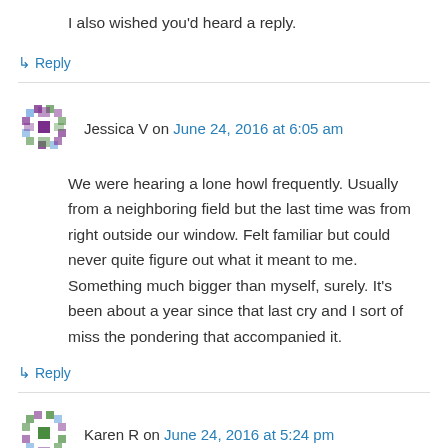I also wished you'd heard a reply.
↳ Reply
Jessica V on June 24, 2016 at 6:05 am
We were hearing a lone howl frequently. Usually from a neighboring field but the last time was from right outside our window. Felt familiar but could never quite figure out what it meant to me. Something much bigger than myself, surely. It's been about a year since that last cry and I sort of miss the pondering that accompanied it.
↳ Reply
Karen R on June 24, 2016 at 5:24 pm